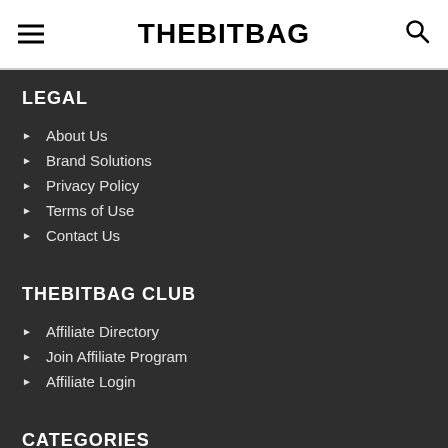THEBITBAG
LEGAL
About Us
Brand Solutions
Privacy Policy
Terms of Use
Contact Us
THEBITBAG CLUB
Affiliate Directory
Join Affiliate Program
Affiliate Login
CATEGORIES
Money
Business